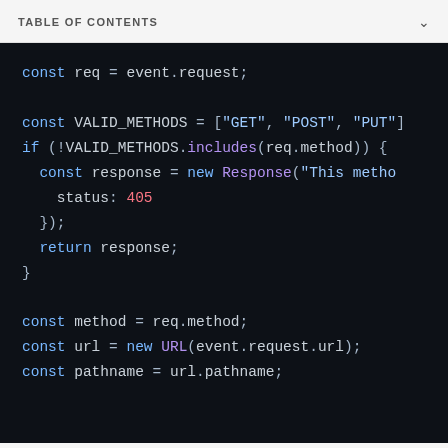TABLE OF CONTENTS
[Figure (screenshot): Dark-themed code editor screenshot showing JavaScript code with syntax highlighting. Code includes: const req = event.request; const VALID_METHODS = ["GET", "POST", "PUT"... if (!VALID_METHODS.includes(req.method)) { const response = new Response("This metho... status: 405 }); return response; } const method = req.method; const url = new URL(event.request.url); const pathname = url.pathname;]